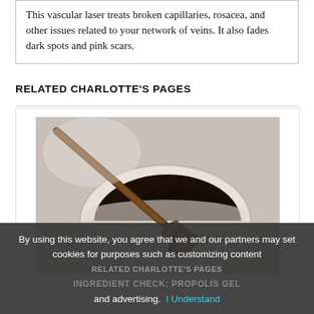This vascular laser treats broken capillaries, rosacea, and other issues related to your network of veins. It also fades dark spots and pink scars.
RELATED CHARLOTTE'S PAGES
[Figure (photo): Close-up photo of a wooden honey dipper resting in a white ceramic bowl filled with dark honey, photographed from above at an angle.]
By using this website, you agree that we and our partners may set cookies for purposes such as customizing content and advertising. I Understand
INGREDIENT CHECK: PROPOLIS GEL